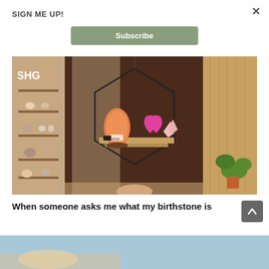SIGN ME UP!
[Figure (screenshot): A sage green Subscribe button on white background]
[Figure (photo): Interior of a crystal/gem store (SHG) showing shelves with crystals and a geometric hexagonal shelf mounted on a dark wall holding a pink himalayan salt lamp and colorful crystal hearts]
When someone asks me what my birthstone is
[Figure (photo): Partial view of a light blue background image at bottom of page]